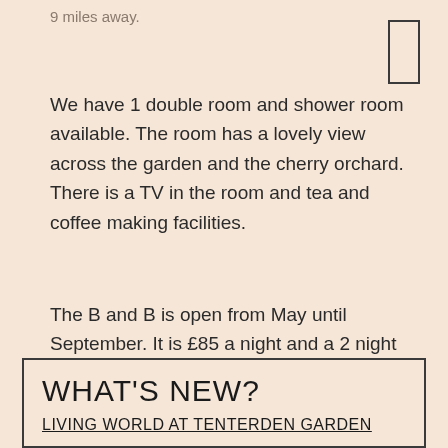9 miles away.
We have 1 double room and shower room available. The room has a lovely view across the garden and the cherry orchard. There is a TV in the room and tea and coffee making facilities.
The B and B is open from May until September. It is £85 a night and a 2 night minimum stay in the weekend. Payment by cash or cheque. Contact: Fran Sharp
WHAT'S NEW?
LIVING WORLD AT TENTERDEN GARDEN